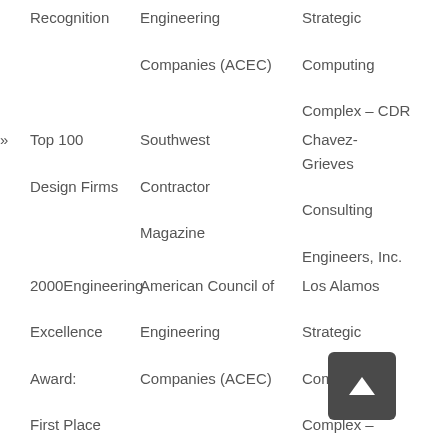Recognition | Engineering Companies (ACEC) | Strategic Computing Complex – CDR
» Top 100 Design Firms | Southwest Contractor Magazine | Chavez-Grieves Consulting Engineers, Inc.
2000 Engineering Excellence Award: First Place | American Council of Engineering Companies (ACEC) | Los Alamos Strategic Computing Complex – Conceptual Design Report